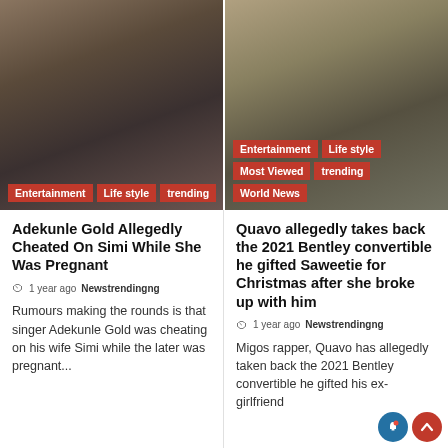[Figure (photo): Photo of Adekunle Gold and Simi smiling together, man wearing navy hoodie with GAP logo]
[Figure (photo): Photo of Quavo near a car, wearing grey hoodie and orange hat]
Adekunle Gold Allegedly Cheated On Simi While She Was Pregnant
1 year ago  Newstrendingng
Rumours making the rounds is that singer Adekunle Gold was cheating on his wife Simi while the later was pregnant...
Quavo allegedly takes back the 2021 Bentley convertible he gifted Saweetie for Christmas after she broke up with him
1 year ago  Newstrendingng
Migos rapper, Quavo has allegedly taken back the 2021 Bentley convertible he gifted his ex-girlfriend